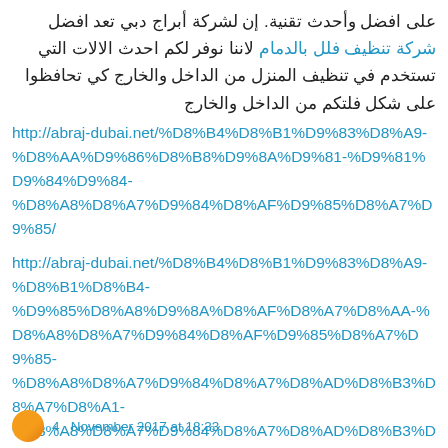على افضل وأحدث تقنية. إن لشركة أبراج دبي خلف أفضل شركة تنظيف فلل بالدمام لاننا نوفر لكم احدث الالات التي تستخدم في تنظيف المنزل من الداخل والخارج كي تحافظوا على شكل فلتكم من الداخل والخارج
http://abraj-dubai.net/%D8%B4%D8%B1%D9%83%D8%A9-%D8%AA%D9%86%D8%B8%D9%8A%D9%81-%D9%81%D9%84%D9%84-%D8%A8%D8%A7%D9%84%D8%AF%D9%85%D8%A7%D7%85/
http://abraj-dubai.net/%D8%B4%D8%B1%D9%83%D8%A9-%D8%B1%D8%B4-%D9%85%D8%A8%D9%8A%D8%AF%D8%A7%D8%AA-%D8%A8%D8%A7%D9%84%D8%AF%D9%85%D8%A7%D7%85-%D8%A8%D8%A7%D9%84%D8%A7%D8%AD%D8%B3%D8%A7%D8%A1/
Reply
4 ... November 2017 at 18:33